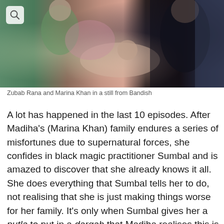[Figure (photo): Still from the TV drama Bandish showing Zubab Rana and Marina Khan, with figures in colorful traditional attire against a dark background]
Zubab Rana and Marina Khan in a still from Bandish
A lot has happened in the last 10 episodes. After Madiha's (Marina Khan) family endures a series of misfortunes due to supernatural forces, she confides in black magic practitioner Sumbal and is amazed to discover that she already knows it all. She does everything that Sumbal tells her to do, not realising that she is just making things worse for her family. It's only when Sumbal gives her a putla to put in a dargah that Madiha realises this is wrong.